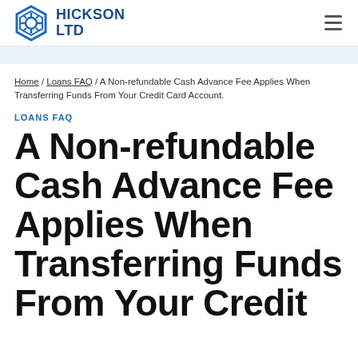[Figure (logo): Hickson Ltd logo with hexagonal gear icon in blue and company name HICKSON LTD in bold blue text]
Home / Loans FAQ / A Non-refundable Cash Advance Fee Applies When Transferring Funds From Your Credit Card Account.
LOANS FAQ
A Non-refundable Cash Advance Fee Applies When Transferring Funds From Your Credit